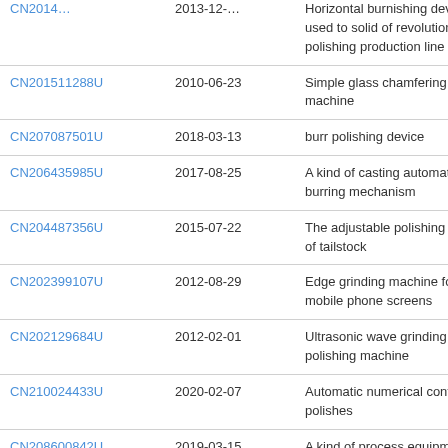| Patent | Date | Description |
| --- | --- | --- |
| CN2014…(cut) | 2013-12-??(cut) | Horizontal burnishing device is used to solid of revolution polishing production line |
| CN201511288U | 2010-06-23 | Simple glass chamfering machine |
| CN207087501U | 2018-03-13 | burr polishing device |
| CN206435985U | 2017-08-25 | A kind of casting automates burring mechanism |
| CN204487356U | 2015-07-22 | The adjustable polishing machine of tailstock |
| CN202399107U | 2012-08-29 | Edge grinding machine for mobile phone screens |
| CN202129684U | 2012-02-01 | Ultrasonic wave grinding and polishing machine |
| CN210024433U | 2020-02-07 | Automatic numerical control lathe polishes |
| CN208600842U | 2019-03-15 | A kind of process equipment of straight…(cut) |